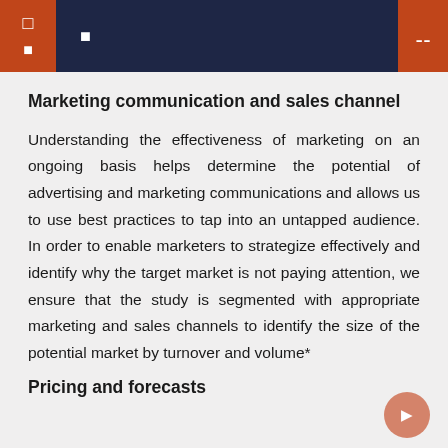Marketing communication and sales channel
Understanding the effectiveness of marketing on an ongoing basis helps determine the potential of advertising and marketing communications and allows us to use best practices to tap into an untapped audience. In order to enable marketers to strategize effectively and identify why the target market is not paying attention, we ensure that the study is segmented with appropriate marketing and sales channels to identify the size of the potential market by turnover and volume*
Pricing and forecasts